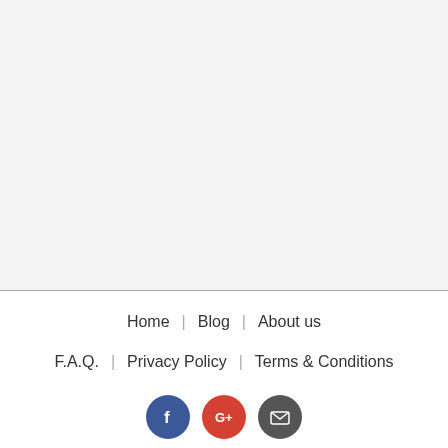Home | Blog | About us | F.A.Q. | Privacy Policy | Terms & Conditions